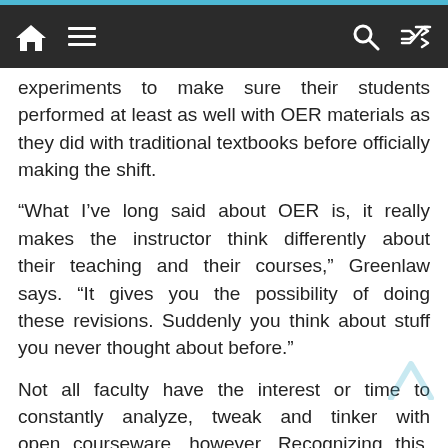Navigation bar with home, menu, search, and shuffle icons
experiments to make sure their students performed at least as well with OER materials as they did with traditional textbooks before officially making the shift.
“What I’ve long said about OER is, it really makes the instructor think differently about their teaching and their courses,” Greenlaw says. “It gives you the possibility of doing these revisions. Suddenly you think about stuff you never thought about before.”
Not all faculty have the interest or time to constantly analyze, tweak and tinker with open courseware, however. Recognizing this, Lumen nudges instructors, too, by publishing data about which concepts student